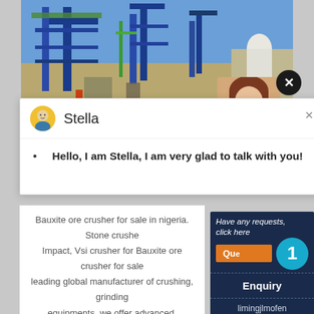[Figure (photo): Industrial facility with blue cranes and metal structures against a blue sky, construction site with heavy equipment]
[Figure (screenshot): Chat widget popup with avatar of Stella (customer service agent) showing greeting message]
Hello, I am Stella, I am very glad to talk with you!
Bauxite ore crusher for sale in nigeria. Stone crusher, Impact, Vsi crusher for Bauxite ore crusher for sale leading global manufacturer of crushing, grinding equipments, we offer advanced, reasonable solutio...
CHAT ONLINE
Have any requests, click here
Quo...
1
Enquiry
limingjlmofen@sina.com